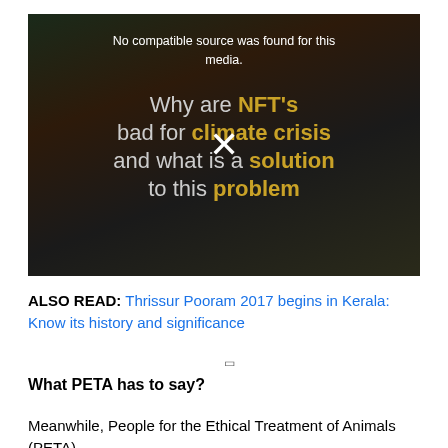[Figure (screenshot): Video player showing dark background with text: 'No compatible source was found for this media.' overlaid on a dark forested scene with a large circular golden coin. Title text reads: 'Why are NFT’s bad for climate crisis and what is a solution to this problem' with highlighted gold text and a white X mark in the center.]
ALSO READ: Thrissur Pooram 2017 begins in Kerala: Know its history and significance
What PETA has to say?
Meanwhile, People for the Ethical Treatment of Animals (PETA)...